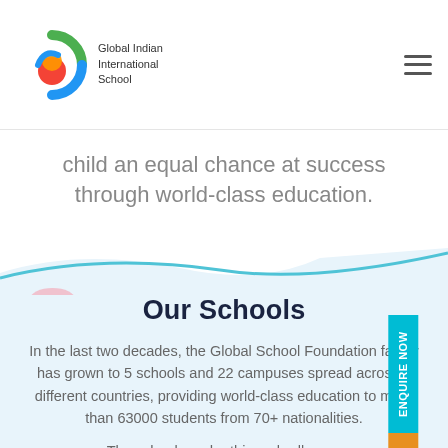[Figure (logo): Global Indian International School logo with circular multicolor icon and text]
child an equal chance at success through world-class education.
Our Schools
In the last two decades, the Global School Foundation family has grown to 5 schools and 22 campuses spread across 8 different countries, providing world-class education to more than 63000 students from 70+ nationalities.
The schools under this umbrella are: